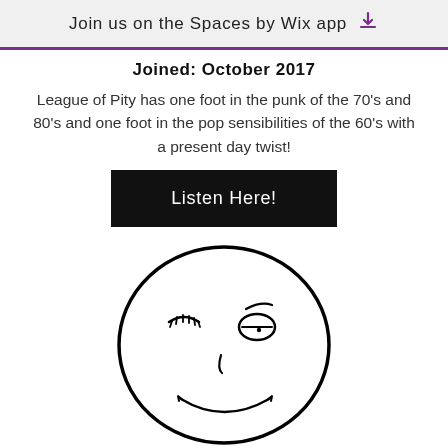Join us on the Spaces by Wix app
Joined: October 2017
League of Pity has one foot in the punk of the 70's and 80's and one foot in the pop sensibilities of the 60's with a present day twist!
Listen Here!
[Figure (illustration): Hand-drawn cartoon smiley face with one eye closed (winking), one open eye, a nose, and a smile. Features include eyelashes on the closed eye and a simple curved mouth.]